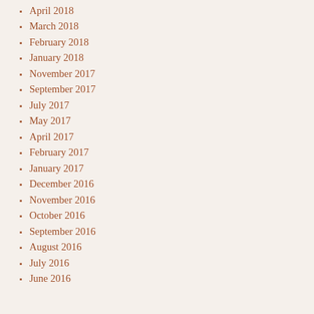April 2018
March 2018
February 2018
January 2018
November 2017
September 2017
July 2017
May 2017
April 2017
February 2017
January 2017
December 2016
November 2016
October 2016
September 2016
August 2016
July 2016
June 2016